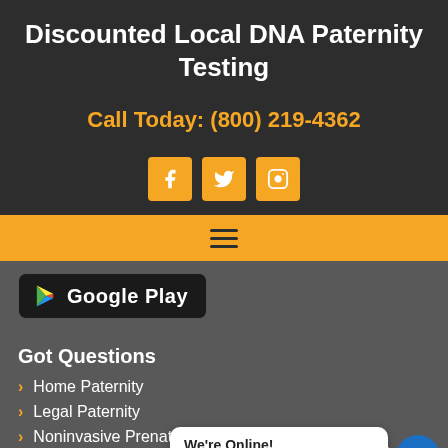Discounted Local DNA Paternity Testing
Call Today: (800) 219-4362
[Figure (infographic): Social media icons: Facebook, Twitter, Instagram on orange square backgrounds]
[Figure (infographic): Orange navigation bar with hamburger menu icon]
[Figure (logo): Google Play badge with Play Store triangle logo]
Got Questions
Home Paternity
Legal Paternity
Noninvasive Prenatal Paternity
Drug Testing
Fingerprint Background Checks
We're Online! How may I help you tod...